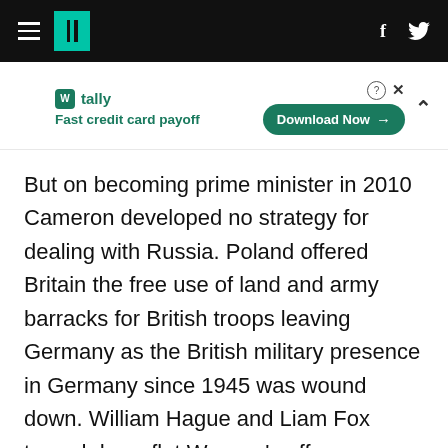HuffPost navigation bar with hamburger menu, logo, Facebook and Twitter icons
[Figure (other): Tally advertisement banner: 'Fast credit card payoff' with Download Now button]
But on becoming prime minister in 2010 Cameron developed no strategy for dealing with Russia. Poland offered Britain the free use of land and army barracks for British troops leaving Germany as the British military presence in Germany since 1945 was wound down. William Hague and Liam Fox turned down flat Warsaw's offer. Together with Tory attacks on hard working Polish citizens helping to grow the UK economy the seven-decade long friendship between Poland and Britain (1940-2010) is now cool to the